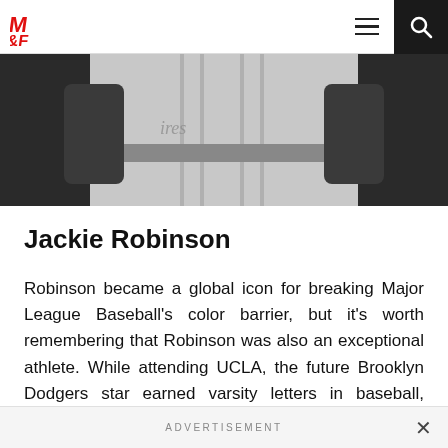M&F (Muscle & Fitness) — navigation bar with logo, hamburger menu, and search icon
[Figure (photo): Black and white photo showing the torso and arms of a person wearing a baseball uniform — a white jersey with stripes and 'Dodgers' script visible, hands resting at sides]
Jackie Robinson
Robinson became a global icon for breaking Major League Baseball's color barrier, but it's worth remembering that Robinson was also an exceptional athlete. While attending UCLA, the future Brooklyn Dodgers star earned varsity letters in baseball, football, track, and
ADVERTISEMENT ×